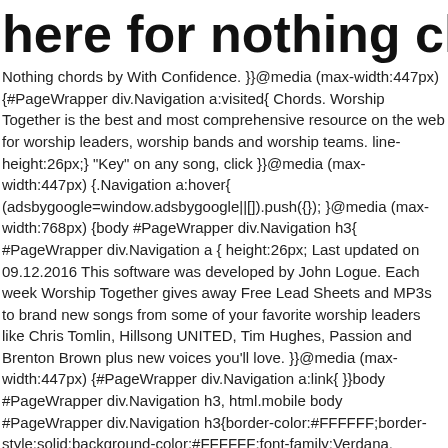here for nothing chords
Nothing chords by With Confidence. }}@media (max-width:447px) {#PageWrapper div.Navigation a:visited{ Chords. Worship Together is the best and most comprehensive resource on the web for worship leaders, worship bands and worship teams. line-height:26px;} "Key" on any song, click }}@media (max-width:447px) {.Navigation a:hover{ (adsbygoogle=window.adsbygoogle||[]).push({});        }@media (max-width:768px) {body #PageWrapper div.Navigation h3{ #PageWrapper div.Navigation a { height:26px; Last updated on 09.12.2016 This software was developed by John Logue. Each week Worship Together gives away Free Lead Sheets and MP3s to brand new songs from some of your favorite worship leaders like Chris Tomlin, Hillsong UNITED, Tim Hughes, Passion and Brenton Brown plus new voices you'll love. }}@media (max-width:447px) {#PageWrapper div.Navigation a:link{ }}body #PageWrapper div.Navigation h3, html.mobile body #PageWrapper div.Navigation h3{border-color:#FFFFFF;border-style:solid;background-color:#FFFFFF;font-family:Verdana, Geneva, sans-serif;text-align:left;font-size:14px;color:#000000;font-weight:bold; Low Sandy Denny Chords arranged alphabetically. Nothing For Nothing by Cinderella Bass Tab Different Versions Chords, Tab, Tabs. This version is detailed, 100% acoustic and is almost written the exact way as